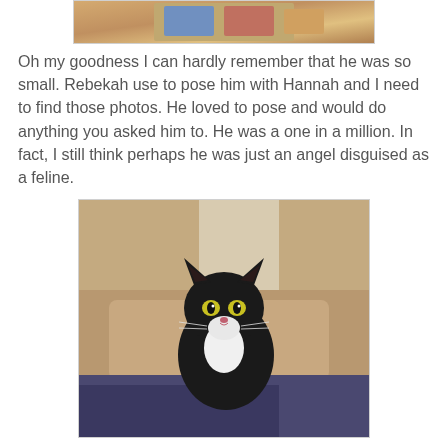[Figure (photo): Partial view of a photo at the top of the page, cropped — shows colorful/warm tones, appears to be the bottom portion of a previous image]
Oh my goodness I can hardly remember that he was so small. Rebekah use to pose him with Hannah and I need to find those photos. He loved to pose and would do anything you asked him to. He was a one in a million. In fact, I still think perhaps he was just an angel disguised as a feline.
[Figure (photo): A black and white cat with bright yellow-green eyes sitting on a light brown blanket or cushion, with a dark blue/purple fabric in the foreground and a wooden interior background.]
I will miss him forever. His eyes were beautiful.
Friendly Fill-Ins
Each week Ellen and Four-Legged Furballs Lorianne